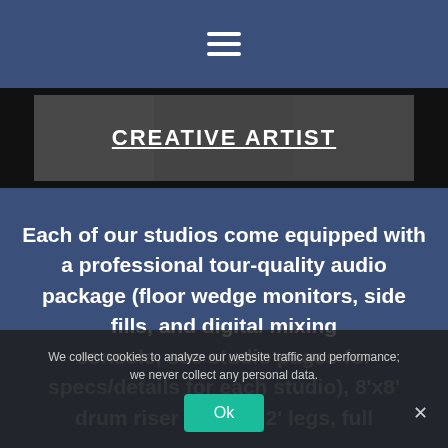Navigation menu icon (hamburger)
[Figure (photo): Grayscale photo strip with overlaid white underlined text reading 'CREATIVE ARTIST' or similar heading]
Each of our studios come equipped with a professional tour-quality audio package (floor wedge monitors, side fills, and digital mixing console, see studio pages for specs/details for each studio), 8'x8' drum riser on 1' or 2' legs, full
We collect cookies to analyze our website traffic and performance; we never collect any personal data.
Ok